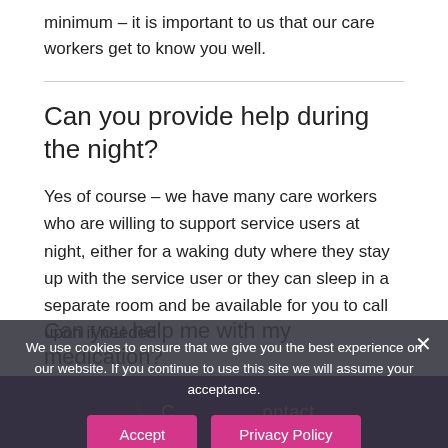minimum – it is important to us that our care workers get to know you well.
Can you provide help during the night?
Yes of course – we have many care workers who are willing to support service users at night, either for a waking duty where they stay up with the service user or they can sleep in a separate room and be available for you to call upon if needed.
We use cookies to ensure that we give you the best experience on our website. If you continue to use this site we will assume your acceptance.
Can you help me with my medication?
Contact